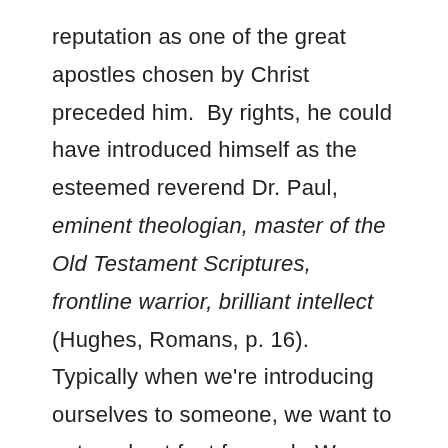reputation as one of the great apostles chosen by Christ preceded him.  By rights, he could have introduced himself as the esteemed reverend Dr. Paul, eminent theologian, master of the Old Testament Scriptures, frontline warrior, brilliant intellect (Hughes, Romans, p. 16). Typically when we're introducing ourselves to someone, we want to put our best foot forward.  We want to impress them with our abilities, our accomplishments, our work, our wealth, or our titles.  We at least try anyway.